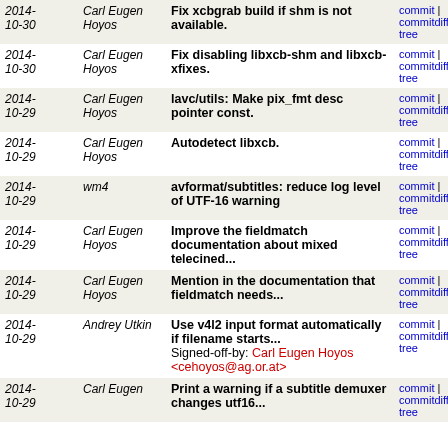| Date | Author | Message | Links |
| --- | --- | --- | --- |
| 2014-10-30 | Carl Eugen Hoyos | Fix xcbgrab build if shm is not available. | commit | commitdiff | tree |
| 2014-10-30 | Carl Eugen Hoyos | Fix disabling libxcb-shm and libxcb-xfixes. | commit | commitdiff | tree |
| 2014-10-29 | Carl Eugen Hoyos | lavc/utils: Make pix_fmt desc pointer const. | commit | commitdiff | tree |
| 2014-10-29 | Carl Eugen Hoyos | Autodetect libxcb. | commit | commitdiff | tree |
| 2014-10-29 | wm4 | avformat/subtitles: reduce log level of UTF-16 warning | commit | commitdiff | tree |
| 2014-10-29 | Carl Eugen Hoyos | Improve the fieldmatch documentation about mixed telecined... | commit | commitdiff | tree |
| 2014-10-29 | Carl Eugen Hoyos | Mention in the documentation that fieldmatch needs... | commit | commitdiff | tree |
| 2014-10-29 | Andrey Utkin | Use v4l2 input format automatically if filename starts... Signed-off-by: Carl Eugen Hoyos <cehoyos@ag.or.at> | commit | commitdiff | tree |
| 2014-10-29 | Carl Eugen | Print a warning if a subtitle demuxer changes utf16... | commit | commitdiff | tree |